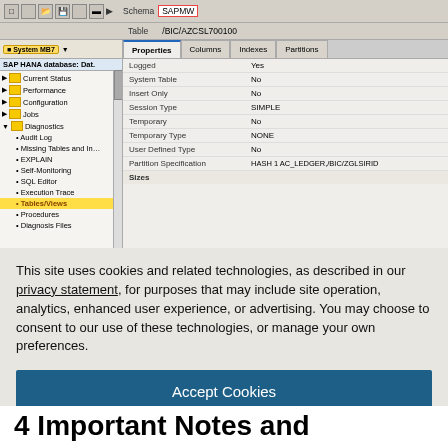[Figure (screenshot): SAP HANA database tool screenshot showing Tables/Views selected in Diagnostics tree, with Properties panel showing table /BIC/AZCSL700100 with properties: Logged=Yes, System Table=No, Insert Only=No, Session Type=SIMPLE, Temporary=No, Temporary Type=NONE, User Defined Type=No, Partition Specification=HASH 1 AC_LEDGER,/BIC/ZGLSIRID]
This site uses cookies and related technologies, as described in our privacy statement, for purposes that may include site operation, analytics, enhanced user experience, or advertising. You may choose to consent to our use of these technologies, or manage your own preferences.
Accept Cookies
More Information
Privacy Policy | Powered by: TrustArc
4 Important Notes and